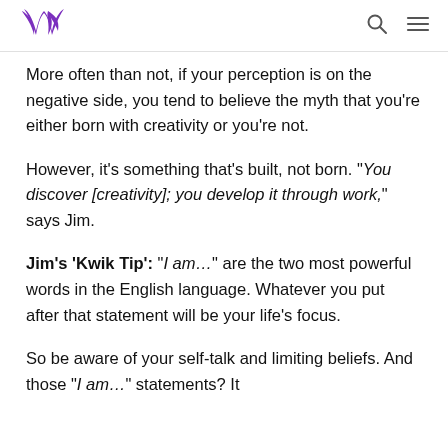[Kwik Learning logo] [Search icon] [Menu icon]
More often than not, if your perception is on the negative side, you tend to believe the myth that you're either born with creativity or you're not.
However, it's something that's built, not born. "You discover [creativity]; you develop it through work," says Jim.
Jim's 'Kwik Tip': "I am…" are the two most powerful words in the English language. Whatever you put after that statement will be your life's focus.
So be aware of your self-talk and limiting beliefs. And those "I am…" statements? It